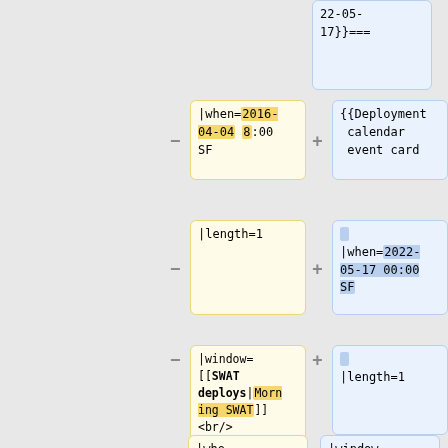[Figure (screenshot): Diff view of wiki template code showing removed (yellow) and added (blue) cells. Top partial row shows '22-05-17}}===' on right. Row 1: left cell '|when=2016-04-04 8:00 SF' (highlighted), right cell '{{Deployment calendar event card'. Row 2: left '|length=1', right '|when=2022-05-17 00:00 SF'. Row 3: left '|window=[[SWAT deploys|Morning SWAT]]<br/><small>'''(Max 8 patches)'''</small>', right '|length=1'. Partial row 4: left '|who=', right '|window='.]